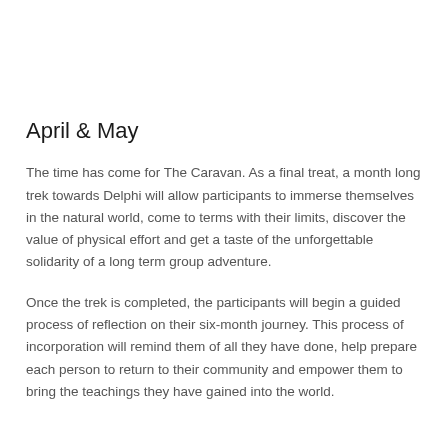April & May
The time has come for The Caravan. As a final treat, a month long trek towards Delphi will allow participants to immerse themselves in the natural world, come to terms with their limits, discover the value of physical effort and get a taste of the unforgettable solidarity of a long term group adventure.
Once the trek is completed, the participants will begin a guided process of reflection on their six-month journey. This process of incorporation will remind them of all they have done, help prepare each person to return to their community and empower them to bring the teachings they have gained into the world.